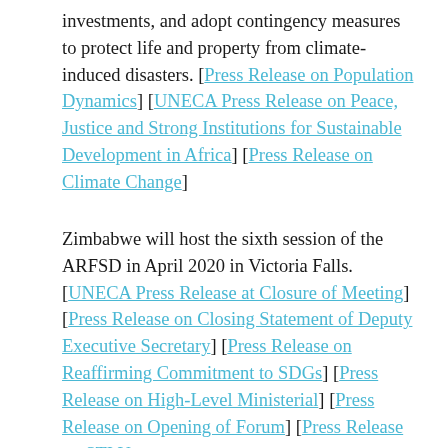investments, and adopt contingency measures to protect life and property from climate-induced disasters. [Press Release on Population Dynamics] [UNECA Press Release on Peace, Justice and Strong Institutions for Sustainable Development in Africa] [Press Release on Climate Change]
Zimbabwe will host the sixth session of the ARFSD in April 2020 in Victoria Falls. [UNECA Press Release at Closure of Meeting] [Press Release on Closing Statement of Deputy Executive Secretary] [Press Release on Reaffirming Commitment to SDGs] [Press Release on High-Level Ministerial] [Press Release on Opening of Forum] [Press Release on STI Us...